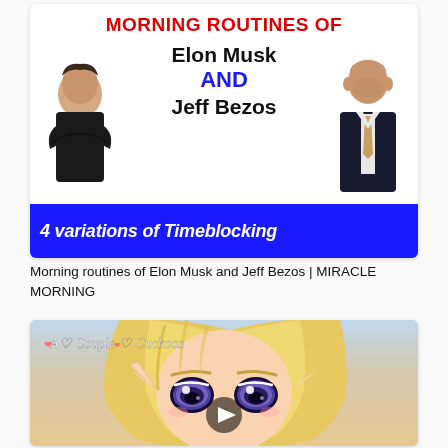[Figure (screenshot): YouTube video thumbnail showing 'MORNING ROUTINES OF Elon Musk AND Jeff Bezos' with photos of both men and a blue banner reading '4 variations of Timeblocking']
Morning routines of Elon Musk and Jeff Bezos | MIRACLE MORNING
[Figure (screenshot): Anime video thumbnail showing a blonde anime girl with large purple eyes and elf ears, with the title 'A Couple of Cuckoos' and a play button overlay]